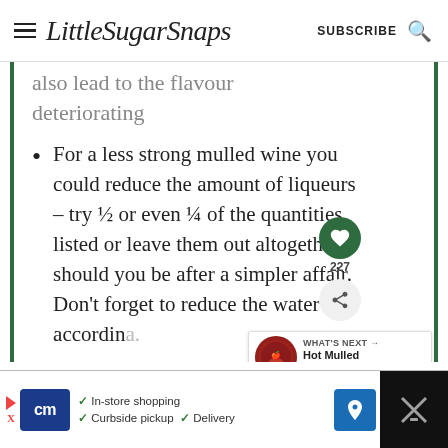LittleSugarSnaps  SUBSCRIBE
also lead to the flavour deteriorating
For a less strong mulled wine you could reduce the amount of liqueurs – try ½ or even ¼ of the quantities listed or leave them out altogether should you be after a simpler affair. Don't forget to reduce the water accordingly.
[Figure (screenshot): Advertisement banner: CM logo, in-store shopping, curbside pickup, delivery checkmarks, navigation arrow button, dark right panel]
[Figure (infographic): What's Next panel with Hot Mulled Apple Juice thumbnail and floating heart/share buttons]